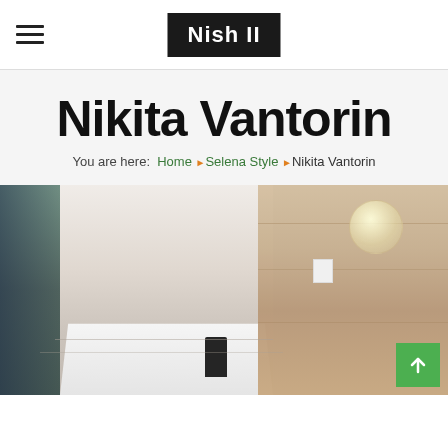Nish II
Nikita Vantorin
You are here: Home ▶ Selena Style ▶ Nikita Vantorin
[Figure (photo): Interior room photo showing wood panel wall, glass partition, white counter surface, dark object, and hanging bulb light fixture]